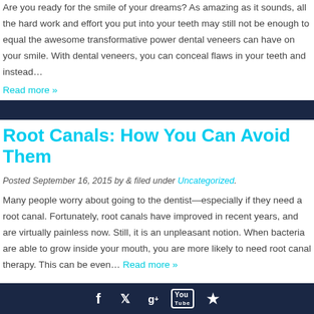Are you ready for the smile of your dreams? As amazing as it sounds, all the hard work and effort you put into your teeth may still not be enough to equal the awesome transformative power dental veneers can have on your smile. With dental veneers, you can conceal flaws in your teeth and instead…
Read more »
Root Canals: How You Can Avoid Them
Posted September 16, 2015 by & filed under Uncategorized.
Many people worry about going to the dentist—especially if they need a root canal.  Fortunately, root canals have improved in recent years, and are virtually painless now. Still, it is an unpleasant notion. When bacteria are able to grow inside your mouth, you are more likely to need root canal therapy. This can be even… Read more »
Social icons: Facebook, Twitter, Google+, YouTube, Yelp